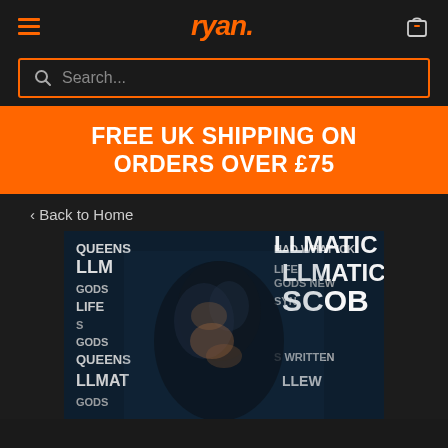ryan. [navigation header with hamburger menu and cart icon]
Search...
FREE UK SHIPPING ON ORDERS OVER £75
< Back to Home
[Figure (photo): Product image: dark artistic poster featuring a face made up of text/typography words including QUEENS, LLMATIC, GODS, LIFE, SCOB, NEW, etc. Dark blue-toned collage style.]